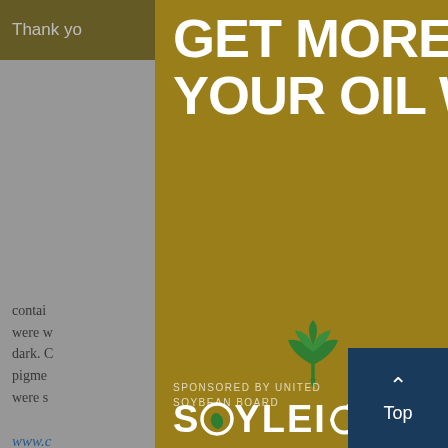Thank you ... tools you
contai... t they were w... the dark. C... ed pigme... ut were s...
www.c...
--- PA...
'Green...
Natura... with n...
[Figure (infographic): Advertisement modal overlay for SOYLEIC oil product. Gold/olive colored background with large white bold text reading 'GET MORE FROM YOUR OIL WITH', a green plant/leaf logo above the SOYLEIC brand name in white letters. Bottom right shows a photo of soybeans. Sponsored by United Soybean Board text at bottom. Close button (x) at top right.]
Top